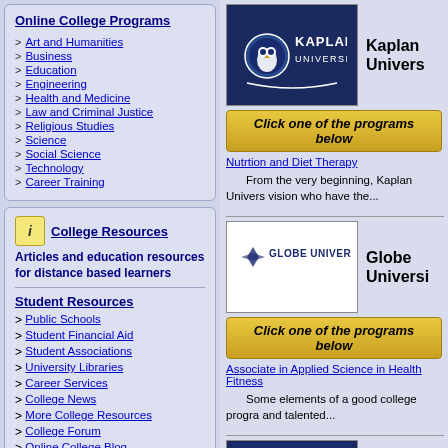Online College Programs
Art and Humanities
Business
Education
Engineering
Health and Medicine
Law and Criminal Justice
Religious Studies
Science
Social Science
Technology
Career Training
[Figure (logo): College Resources icon - yellow bookmark/info icon]
College Resources
Articles and education resources for distance based learners
Student Resources
Public Schools
Student Financial Aid
Student Associations
University Libraries
Career Services
College News
More College Resources
College Forum
Online College Blog
[Figure (logo): Kaplan University logo - dark navy blue background with white owl icon and KAPLAN UNIVERSITY text]
Kaplan Univers
Click one of the programs below
Nutrtion and Diet Therapy
From the very beginning, Kaplan Univers vision who have the...
[Figure (logo): Globe University logo - white background with diamond/star icon and GLOBE UNIVERSITY text]
Globe Universi
Click one of the programs below
Associate in Applied Science in Health Fitness
Some elements of a good college progra and talented...
[Figure (logo): Broadview University logo - dark navy blue background with diamond/star icon and BROADVIEW UNIVERSITY text]
Broadview Uni